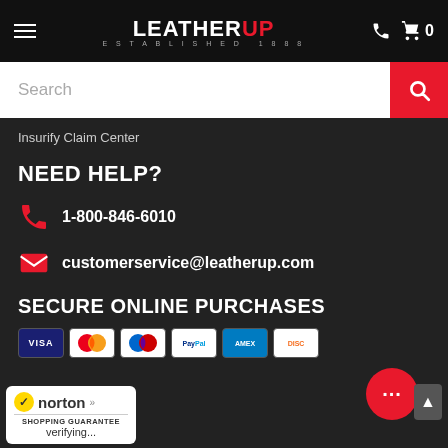LeatherUp Established 1888 — Navigation header with search bar
Insurify Claim Center
NEED HELP?
1-800-846-6010
customerservice@leatherup.com
SECURE ONLINE PURCHASES
[Figure (other): Payment method icons: Visa, Mastercard, Maestro, PayPal, American Express, Discover]
[Figure (logo): Norton Shopping Guarantee badge with verifying... text]
[Figure (other): Chat bubble button with ellipsis and scroll-up arrow button]